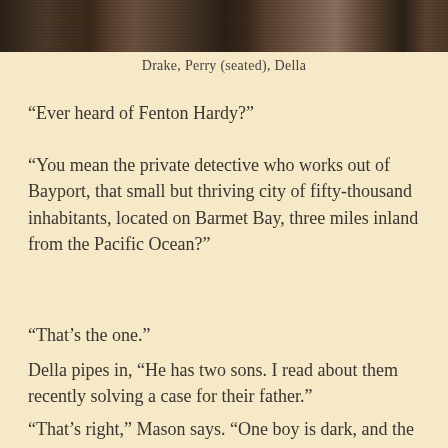[Figure (photo): Black and white photograph strip showing three people: Drake, Perry (seated), and Della]
Drake, Perry (seated), Della
“Ever heard of Fenton Hardy?”
“You mean the private detective who works out of Bayport, that small but thriving city of fifty-thousand inhabitants, located on Barmet Bay, three miles inland from the Pacific Ocean?”
“That’s the one.”
Della pipes in, “He has two sons. I read about them recently solving a case for their father.”
“That’s right,” Mason says. “One boy is dark, and the other is light…”